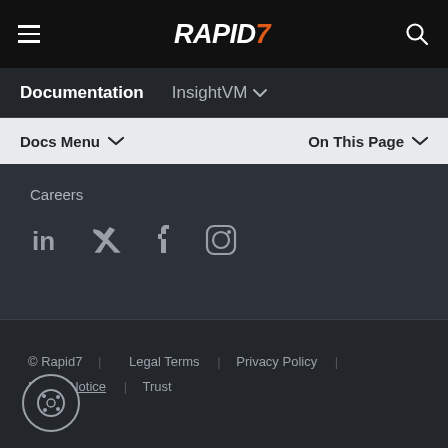RAPID7 — Documentation | InsightVM
Docs Menu ∨   On This Page ∨
Careers
[Figure (other): Social media icons: LinkedIn, Twitter, Facebook, Instagram]
© Rapid7   Legal Terms  |  Privacy Policy  |  Export Notice  |  Trust